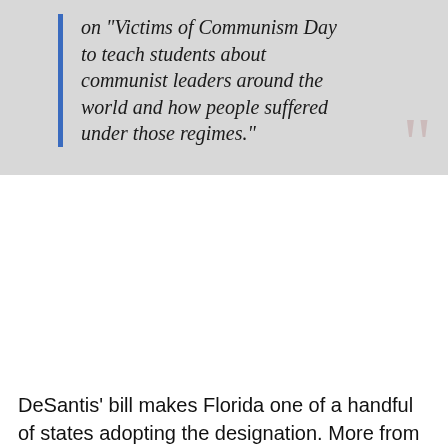on 'Victims of Communism Day to teach students about communist leaders around the world and how people suffered under those regimes."
DeSantis' bill makes Florida one of a handful of states adopting the designation. More from the Herald:
“It is, however, the first state to mandate school instruction on that day, as Florida Republicans continue to seize on education policy while placing school curriculum at the forefront of their political priorities ahead of the